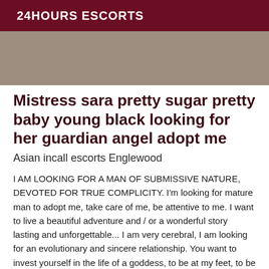24HOURS ESCORTS
[Figure (photo): Partial view of a person, blurred/cropped photo used as listing image]
Mistress sara pretty sugar pretty baby young black looking for her guardian angel adopt me
Asian incall escorts Englewood
I AM LOOKING FOR A MAN OF SUBMISSIVE NATURE, DEVOTED FOR TRUE COMPLICITY. I'm looking for mature man to adopt me, take care of me, be attentive to me. I want to live a beautiful adventure and / or a wonderful story lasting and unforgettable... I am very cerebral, I am looking for an evolutionary and sincere relationship. You want to invest yourself in the life of a goddess, to be at my feet, to be mine, to take care of me, to belong to me and to soften my daily life? Send me sms with your description: your first name,